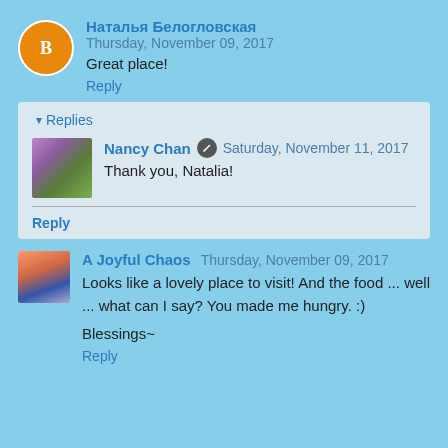Наталья Белогловская  Thursday, November 09, 2017
Great place!
Reply
▾ Replies
Nancy Chan  Saturday, November 11, 2017
Thank you, Natalia!
Reply
A Joyful Chaos  Thursday, November 09, 2017
Looks like a lovely place to visit! And the food ... well ... what can I say? You made me hungry. :)
Blessings~
Reply